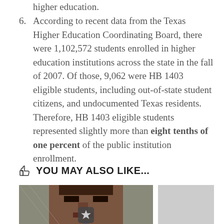higher education.
6. According to recent data from the Texas Higher Education Coordinating Board, there were 1,102,572 students enrolled in higher education institutions across the state in the fall of 2007. Of those, 9,062 were HB 1403 eligible students, including out-of-state student citizens, and undocumented Texas residents. Therefore, HB 1403 eligible students represented slightly more than eight tenths of one percent of the public institution enrollment.
YOU MAY ALSO LIKE...
[Figure (photo): Photo of a person's face close-up, partially cropped, with a chain-link fence visible in background. A star badge icon appears at the bottom center.]
[Figure (photo): Gray placeholder image on the right side.]